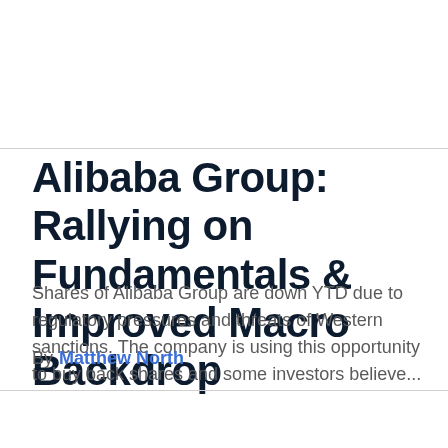Alibaba Group: Rallying on Fundamentals & Improved Macro Backdrop
Shares of Alibaba Group are down YTD due to regulatory pressures and threats of Western sanctions. The company is using this opportunity to buy back shares and some investors believe...
By  Matthew North